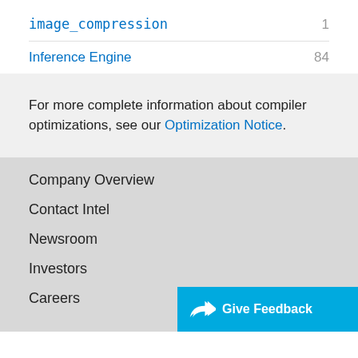image_compression 1
Inference Engine 84
For more complete information about compiler optimizations, see our Optimization Notice.
Company Overview
Contact Intel
Newsroom
Investors
Careers
Give Feedback